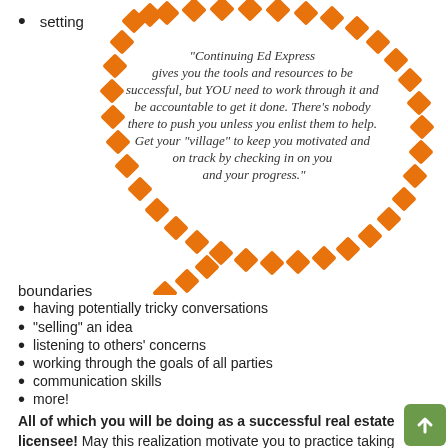setting
[Figure (illustration): Speech bubble made of dashed orange diamond shapes in an ellipse with a tail pointing down-left, containing an italic quote about Continuing Ed Express.]
boundaries
having potentially tricky conversations
"selling" an idea
listening to others' concerns
working through the goals of all parties
communication skills
more!
All of which you will be doing as a successful real estate licensee! May this realization motivate you to practice taking